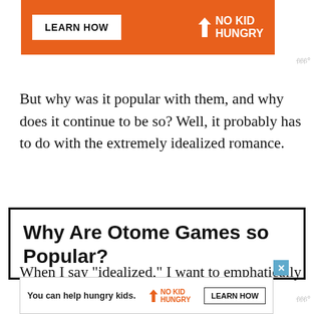[Figure (other): Orange advertisement banner with 'LEARN HOW' button and 'NO KID HUNGRY' logo on orange background]
But why was it popular with them, and why does it continue to be so? Well, it probably has to do with the extremely idealized romance.
Why Are Otome Games so Popular?
When I say "idealized," I want to emphatically
[Figure (other): Bottom advertisement bar with 'You can help hungry kids.' text, No Kid Hungry logo, and Learn How button]